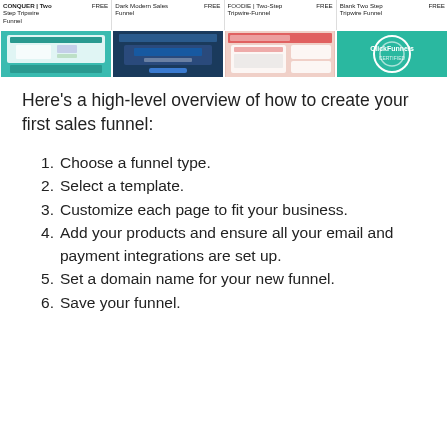[Figure (screenshot): Four funnel template thumbnails with labels: 'CONQUER | Two Step Tripwire Funnel FREE', 'Dark Modern Sales Funnel FREE', 'FOODIE | Two-Step Tripwire-Funnel FREE', 'Blank Two Step Tripwire Funnel FREE'. Each has a label row and a colored thumbnail image below.]
Here's a high-level overview of how to create your first sales funnel:
Choose a funnel type.
Select a template.
Customize each page to fit your business.
Add your products and ensure all your email and payment integrations are set up.
Set a domain name for your new funnel.
Save your funnel.